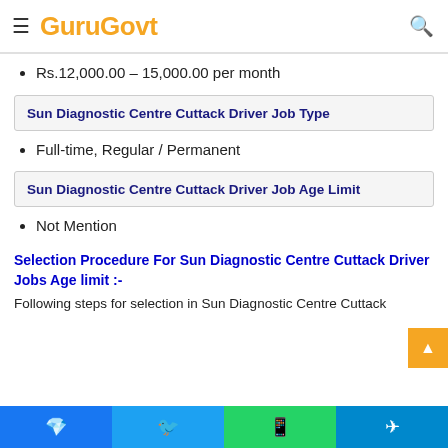Sun Diagnostic Centre Cuttack Driver Recruitment Pay
GuruGovt
Rs.12,000.00 – 15,000.00 per month
Sun Diagnostic Centre Cuttack Driver Job Type
Full-time, Regular / Permanent
Sun Diagnostic Centre Cuttack Driver Job Age Limit
Not Mention
Selection Procedure For Sun Diagnostic Centre Cuttack Driver Jobs Age limit :-
Following steps for selection in Sun Diagnostic Centre Cuttack